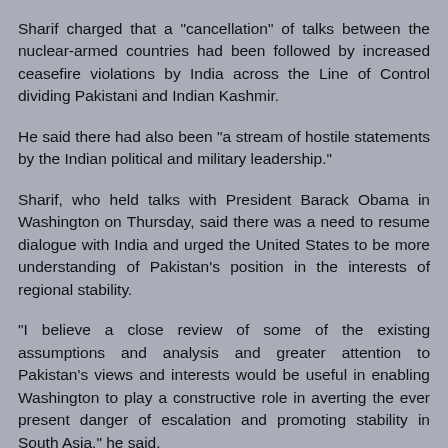Sharif charged that a "cancellation" of talks between the nuclear-armed countries had been followed by increased ceasefire violations by India across the Line of Control dividing Pakistani and Indian Kashmir.
He said there had also been "a stream of hostile statements by the Indian political and military leadership."
Sharif, who held talks with President Barack Obama in Washington on Thursday, said there was a need to resume dialogue with India and urged the United States to be more understanding of Pakistan's position in the interests of regional stability.
"I believe a close review of some of the existing assumptions and analysis and greater attention to Pakistan's views and interests would be useful in enabling Washington to play a constructive role in averting the ever present danger of escalation and promoting stability in South Asia," he said.
Sharif did not define "countermeasures," but on Thursday,